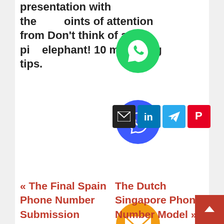presentation with the points of attention from Don't think of a pink elephant! 10 marketing tips.
[Figure (infographic): Vertical stack of social sharing icons: WhatsApp (green circle), Viber (blue circle), email share row (black, LinkedIn blue, Telegram blue, Pinterest red squares), email circle (orange), LINE (green circle), Viber circle (purple), close X (green circle)]
« The Final Spain Phone Number Submission
The Dutch Singapore Phone Number Model »
By mijanbokul
[Figure (photo): Generic grey user avatar circle]